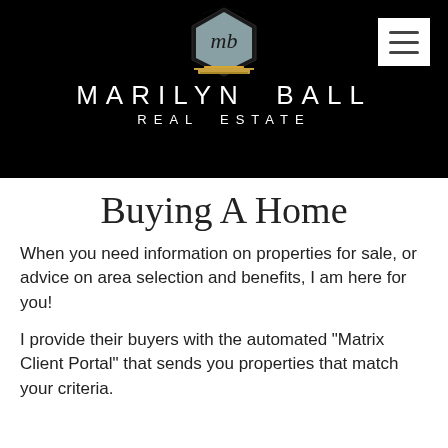[Figure (logo): Marilyn Ball Real Estate logo: black header bar with a house/hexagon icon containing 'mb' script lettering on light blue background with gold decorative base, text 'MARILYN BALL REAL ESTATE' in white spaced letters below. Top right has a white hamburger menu icon.]
Buying A Home
When you need information on properties for sale, or advice on area selection and benefits, I am here for you!
I provide their buyers with the automated "Matrix Client Portal" that sends you properties that match your criteria.